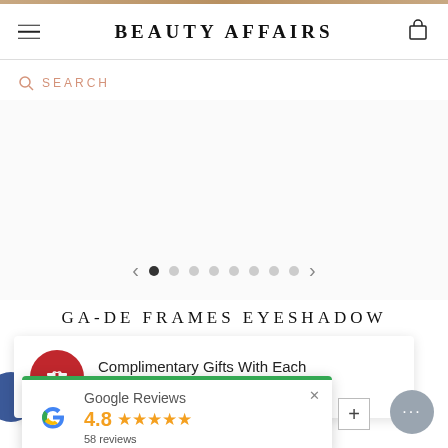BEAUTY AFFAIRS
SEARCH
[Figure (screenshot): Product image carousel area with navigation arrows and dots. Left arrow, 1 filled dot and 7 empty dots, right arrow.]
GA-DE FRAMES EYESHADOW
Complimentary Gifts With Each Order
Google Reviews
4.8 ★★★★★
58 reviews